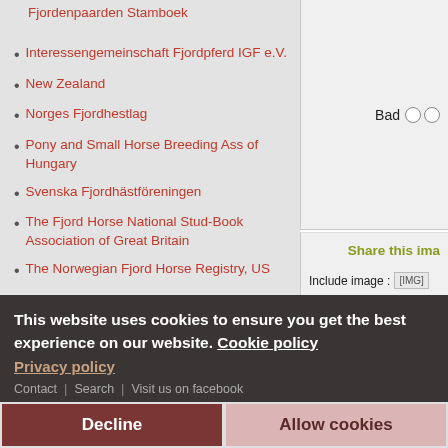Fjordenpaarden Stamboek
Interessengemeinschaft Fjordpferd IGF e.V.
New Zealand
Norges Fjordhestlag
Pony and Small Horse Breeding Ass of Hungary
Svenska Fjordhästföreningen
The Fjord Horse National Stud-Book Association of Great Britain
The Norwegian Fjord Horse Registry, US
Bad
Share this ima
Include image : [IMG]
Link image : [URL]
This website uses cookies to ensure you get the best experience on our website. Cookie policy
Privacy policy
Contact | Search | Visit us on facebook
Decline
Allow cookies